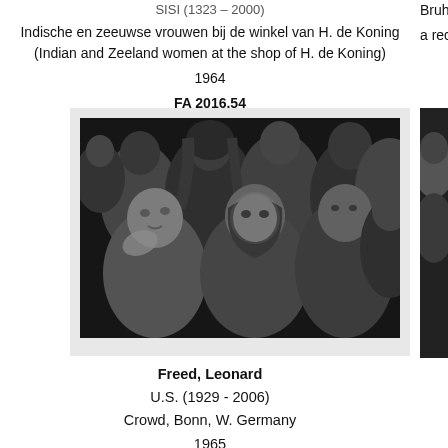Indische en zeeuwse vrouwen bij de winkel van H. de Koning (Indian and Zeeland women at the shop of H. de Koning)
1964
FA 2016.54
View
Bruhl, North R...
a reception
[Figure (photo): Black and white photograph of a crowd of women, some wearing headscarves, one wiping her eye. Crowd, Bonn, W. Germany, 1965.]
Freed, Leonard
U.S. (1929 - 2006)
Crowd, Bonn, W. Germany
1965
FA 2016.64
View